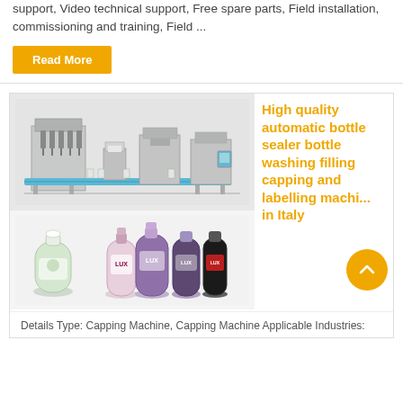support, Video technical support, Free spare parts, Field installation, commissioning and training, Field ...
Read More
[Figure (photo): Industrial automatic bottle filling and sealing machine production line]
[Figure (photo): Various consumer product bottles including LUX shampoo and body wash bottles]
High quality automatic bottle sealer bottle washing filling capping and labelling machine in Italy
Details Type: Capping Machine, Capping Machine Applicable Industries: